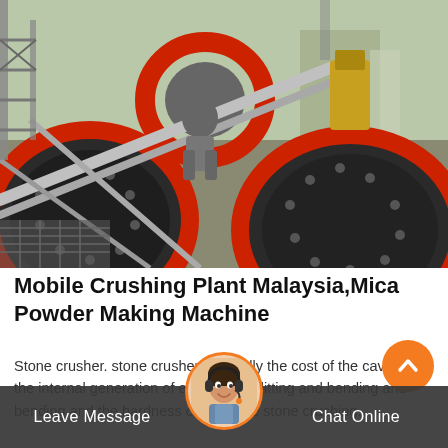[Figure (photo): Industrial mining/crushing plant machinery with large cylindrical ball mills, red metal rings/gears, steel pipes, scaffolding. A worker is visible among the heavy equipment. Outdoor industrial facility.]
Mobile Crushing Plant Malaysia,Mica Powder Making Machine
Stone crusher. stone crusher is usually the cost of the cavity from the internal generation of extrusion, splitting and bending and bending and the hardness of large ore stone crushing...
[Figure (other): Orange circular scroll-to-top arrow button]
Leave Message   Chat Online